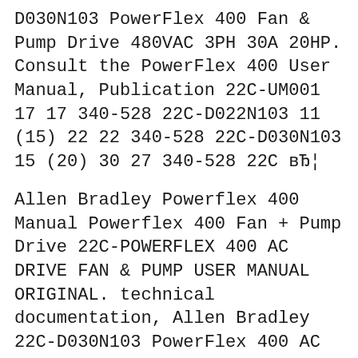D030N103 PowerFlex 400 Fan & Pump Drive 480VAC 3PH 30A 20HP. Consult the PowerFlex 400 User Manual, Publication 22C-UM001 17 17 340-528 22C-D022N103 11 (15) 22 22 340-528 22C-D030N103 15 (20) 30 27 340-528 22C вЂ¦
Allen Bradley Powerflex 400 Manual Powerflex 400 Fan + Pump Drive 22C-POWERFLEX 400 AC DRIVE FAN & PUMP USER MANUAL ORIGINAL. technical documentation, Allen Bradley 22C-D030N103 PowerFlex 400 AC Drive. Buy the Allen Bradley 22C-D030N103 PowerFlex 400 AC Drive from LaX Engineered Solutions, the вЂ¦